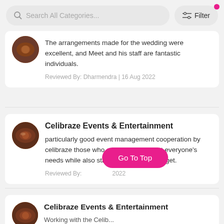Search All Categories... | Filter
The arrangements made for the wedding were excellent, and Meet and his staff are fantastic individuals.
Reviewed By: Dharmendra | 16 Aug 2022
Celibraze Events & Entertainment
particularly good event management cooperation by celibraze those who endeavour to meet everyone's needs while also staying within your budget.
Reviewed By: [partially obscured] 2022
Celibraze Events & Entertainment
Working with the Celib... (continues)